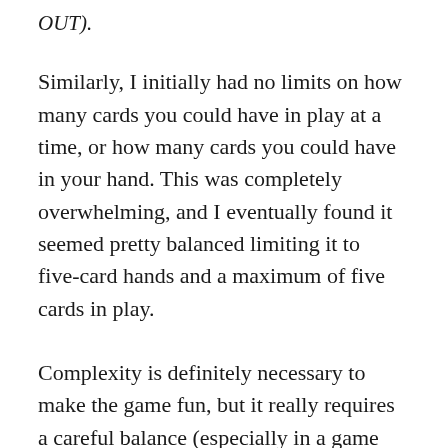OUT).
Similarly, I initially had no limits on how many cards you could have in play at a time, or how many cards you could have in your hand. This was completely overwhelming, and I eventually found it seemed pretty balanced limiting it to five-card hands and a maximum of five cards in play.
Complexity is definitely necessary to make the game fun, but it really requires a careful balance (especially in a game where all the cards are unique). Too much complexity, and the players get bogged down reading cards before they can even figure out what to play